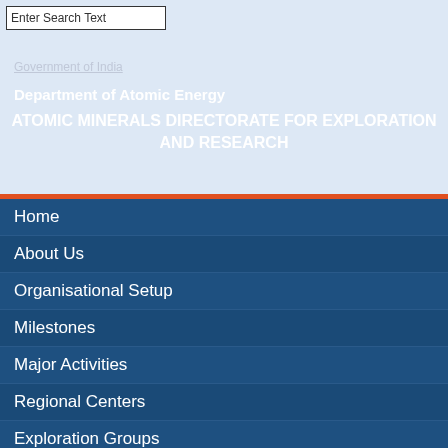Enter Search Text
Government of India
Department of Atomic Energy
ATOMIC MINERALS DIRECTORATE FOR EXPLORATION AND RESEARCH
Home
About Us
Organisational Setup
Milestones
Major Activities
Regional Centers
Exploration Groups
Laboratories
Allied Groups
Training School
Scientific and Technical Resource Centre
Technical Services